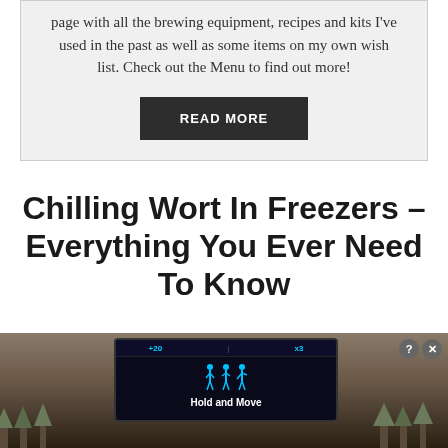page with all the brewing equipment, recipes and kits I've used in the past as well as some items on my own wish list. Check out the Menu to find out more!
READ MORE
Chilling Wort In Freezers – Everything You Ever Need To Know
[Figure (screenshot): Advertisement banner showing a mobile game app with a dark device screen, blue icons, trees in background, and 'Hold and Move' text. Close (X) and help (?) buttons in top right corner.]